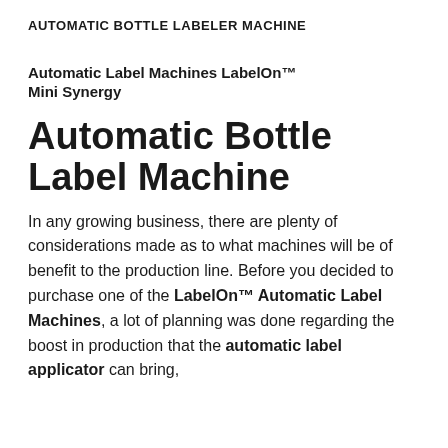AUTOMATIC BOTTLE LABELER MACHINE
Automatic Label Machines LabelOn™ Mini Synergy
Automatic Bottle Label Machine
In any growing business, there are plenty of considerations made as to what machines will be of benefit to the production line. Before you decided to purchase one of the LabelOn™ Automatic Label Machines, a lot of planning was done regarding the boost in production that the automatic label applicator can bring,